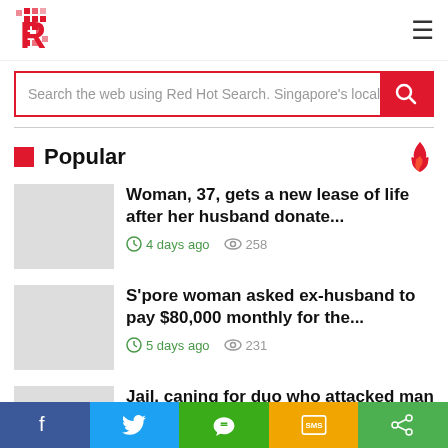Red Hot Search - Singapore's localized news
Search the web using Red Hot Search. Singapore's localized
Popular
Woman, 37, gets a new lease of life after her husband donate... · 4 days ago · 258
S'pore woman asked ex-husband to pay $80,000 monthly for the... · 5 days ago · 231
Jail, caning for duo who attacked man at Choa
Facebook · Twitter · WeChat · SMS · Share